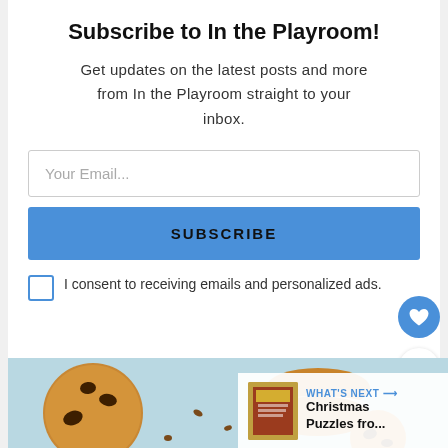Subscribe to In the Playroom!
Get updates on the latest posts and more from In the Playroom straight to your inbox.
Your Email...
SUBSCRIBE
I consent to receiving emails and personalized ads.
[Figure (photo): Photo of chocolate chip cookies and sandwich cookies on a light blue surface]
WHAT'S NEXT → Christmas Puzzles fro...